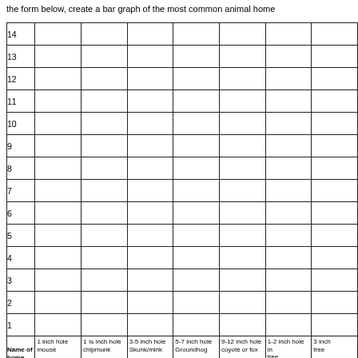the form below, create a bar graph of the most common animal home
[Figure (other): Blank bar graph grid with y-axis numbered 1-14 and x-axis categories: Name of home (with arrow), 1 inch hole mouse, 1¾ inch hole chipmunk, 3-5 inch hole Skunk/mink, 5-7 inch hole Groundhog, 9-12 inch hole coyote or fox, 1-2 inch hole in tree, 3 inch [cut off]]